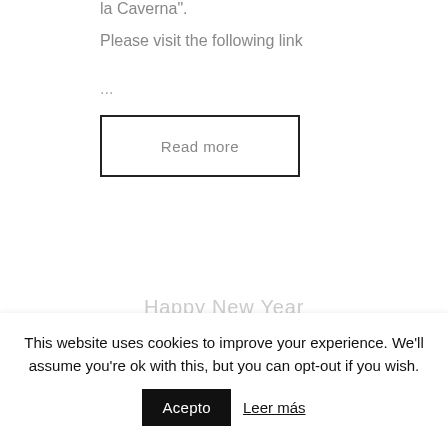la Caverna".
Please visit the following link
...
Read more
Happy New Year
This website uses cookies to improve your experience. We'll assume you're ok with this, but you can opt-out if you wish.
Acepto
Leer más